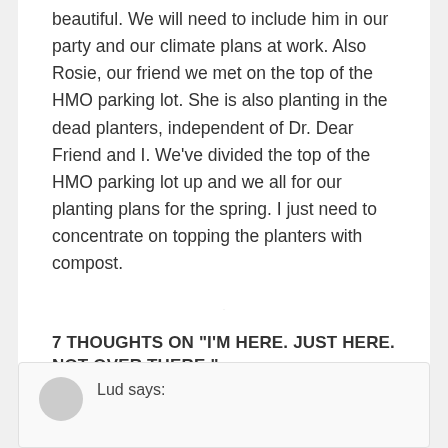beautiful. We will need to include him in our party and our climate plans at work. Also Rosie, our friend we met on the top of the HMO parking lot. She is also planting in the dead planters, independent of Dr. Dear Friend and I. We've divided the top of the HMO parking lot up and we all for our planting plans for the spring. I just need to concentrate on topping the planters with compost.
[Figure (other): Loading spinner icon (circular dashed spinner indicating a loading state)]
7 THOUGHTS ON "I'M HERE. JUST HERE. NOT OVER THERE."
Lud says: